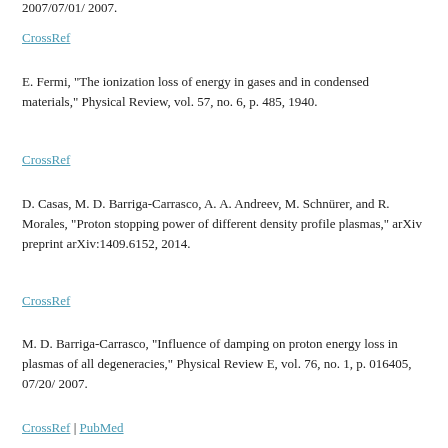2007/07/01/ 2007.
CrossRef
E. Fermi, "The ionization loss of energy in gases and in condensed materials," Physical Review, vol. 57, no. 6, p. 485, 1940.
CrossRef
D. Casas, M. D. Barriga-Carrasco, A. A. Andreev, M. Schnürer, and R. Morales, "Proton stopping power of different density profile plasmas," arXiv preprint arXiv:1409.6152, 2014.
CrossRef
M. D. Barriga-Carrasco, "Influence of damping on proton energy loss in plasmas of all degeneracies," Physical Review E, vol. 76, no. 1, p. 016405, 07/20/ 2007.
CrossRef | PubMed